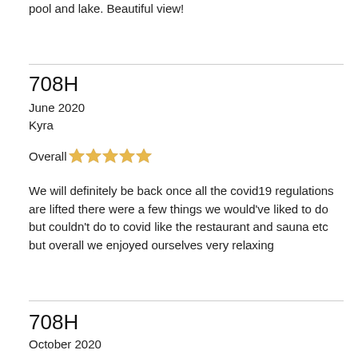We had a wonderful time. Our son loved swimming in the indoor pool and lake. Beautiful view!
708H
June 2020
Kyra
Overall ★★★★★
We will definitely be back once all the covid19 regulations are lifted there were a few things we would've liked to do but couldn't do to covid like the restaurant and sauna etc but overall we enjoyed ourselves very relaxing
708H
October 2020
Paul